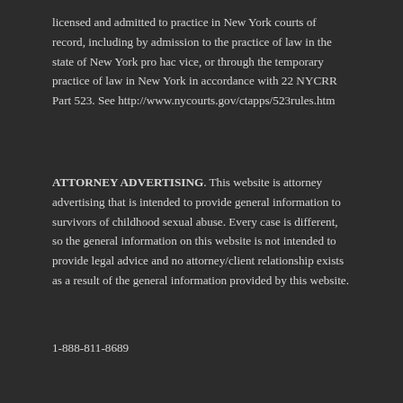licensed and admitted to practice in New York courts of record, including by admission to the practice of law in the state of New York pro hac vice, or through the temporary practice of law in New York in accordance with 22 NYCRR Part 523. See http://www.nycourts.gov/ctapps/523rules.htm
ATTORNEY ADVERTISING. This website is attorney advertising that is intended to provide general information to survivors of childhood sexual abuse. Every case is different, so the general information on this website is not intended to provide legal advice and no attorney/client relationship exists as a result of the general information provided by this website.
1-888-811-8689